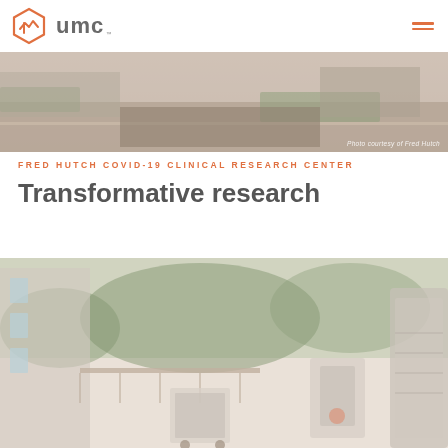umc
[Figure (photo): Aerial/street view of Fred Hutch campus area with road, parking lots, and green lawn. Photo credit: 'Photo courtesy of Fred Hutch']
FRED HUTCH COVID-19 CLINICAL RESEARCH CENTER
Transformative research
[Figure (photo): Outdoor scene showing research equipment being transported on a cart along a building corridor with trees and green landscape in background]